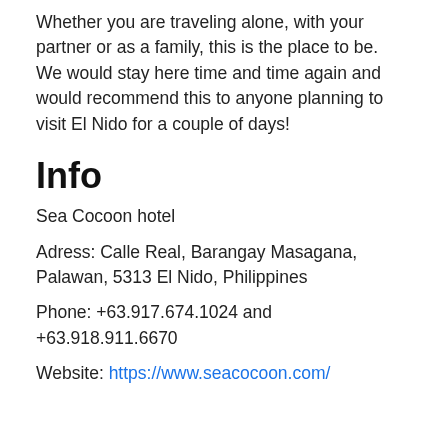Whether you are traveling alone, with your partner or as a family, this is the place to be.
We would stay here time and time again and would recommend this to anyone planning to visit El Nido for a couple of days!
Info
Sea Cocoon hotel
Adress: Calle Real, Barangay Masagana, Palawan, 5313 El Nido, Philippines
Phone: +63.917.674.1024 and +63.918.911.6670
Website: https://www.seacocoon.com/